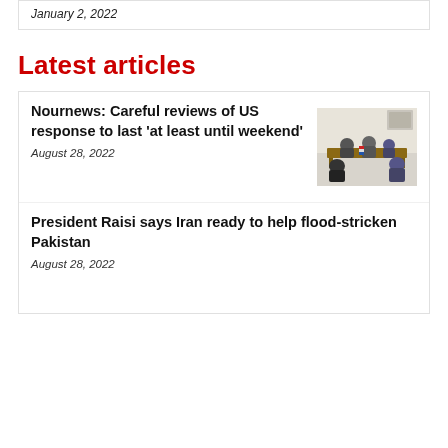January 2, 2022
Latest articles
Nournews: Careful reviews of US response to last 'at least until weekend'
August 28, 2022
[Figure (photo): Several men in suits sitting around a conference table in a formal meeting room]
President Raisi says Iran ready to help flood-stricken Pakistan
August 28, 2022